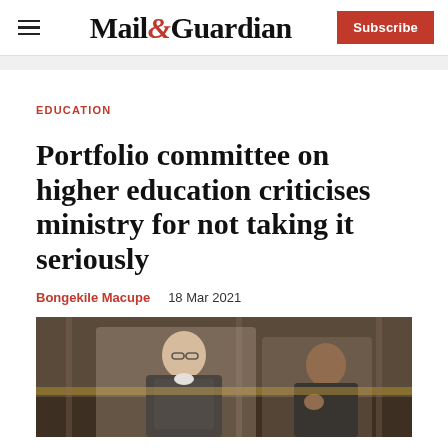Mail&Guardian | Subscribe
EDUCATION
Portfolio committee on higher education criticises ministry for not taking it seriously
Bongekile Macupe   18 Mar 2021
[Figure (photo): Two people in black robes seated, appearing to be in a formal/parliamentary setting with wooden paneling in the background.]